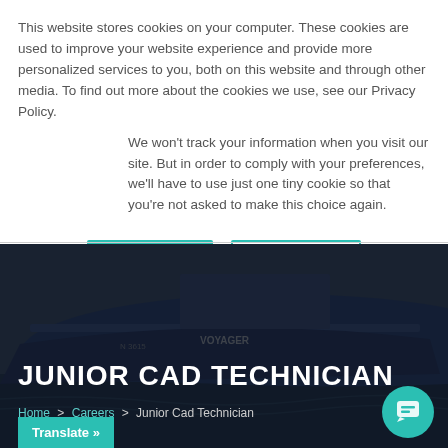This website stores cookies on your computer. These cookies are used to improve your website experience and provide more personalized services to you, both on this website and through other media. To find out more about the cookies we use, see our Privacy Policy.
We won't track your information when you visit our site. But in order to comply with your preferences, we'll have to use just one tiny cookie so that you're not asked to make this choice again.
[Figure (screenshot): Two buttons: Accept (teal filled) and Decline (teal outline)]
[Figure (photo): Dark hero image of a ship named VOYAGER docked at water, with dark overlay]
JUNIOR CAD TECHNICIAN
Home > Careers > Junior Cad Technician